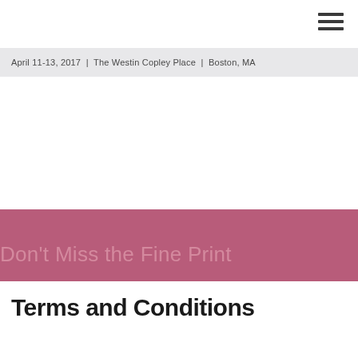April 11-13, 2017  |  The Westin Copley Place  |  Boston, MA
Don't Miss the Fine Print
Terms and Conditions